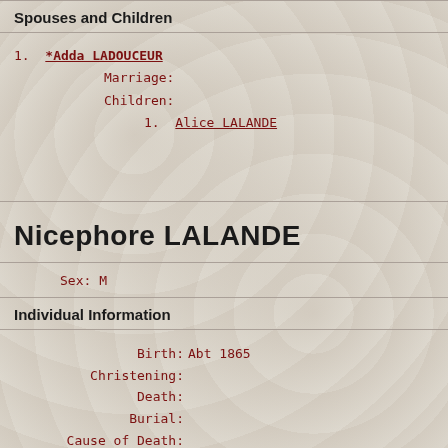Spouses and Children
1. *Adda LADOUCEUR
        Marriage:
        Children:
                    1. Alice LALANDE
Nicephore LALANDE
Sex: M
Individual Information
Birth: Abt 1865
Christening:
Death:
Burial:
Cause of Death:
AFN #: